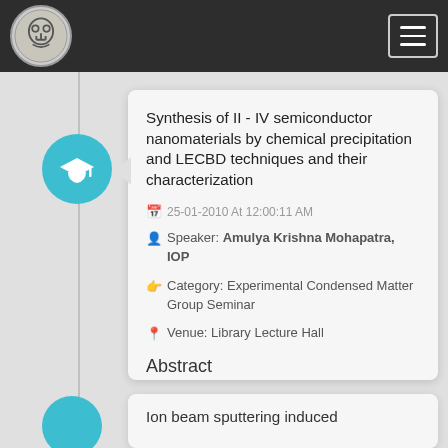[Figure (logo): Institution logo - circular emblem with face/symbol design on dark navbar]
Synthesis of II - IV semiconductor nanomaterials by chemical precipitation and LECBD techniques and their characterization
25-01-2010 At 12:00:11 AM
Speaker: Amulya Krishna Mohapatra, IOP
Category: Experimental Condensed Matter Group Seminar
Venue: Library Lecture Hall
Abstract
Ion beam sputtering induced